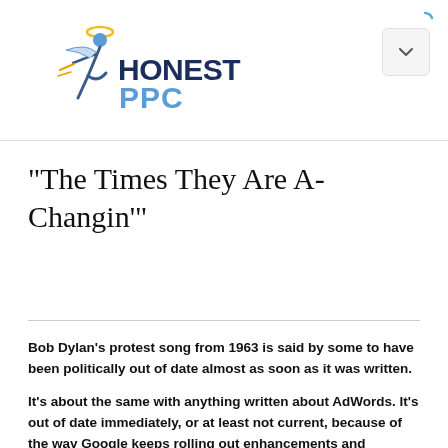[Figure (logo): Honest PPC logo with a running angel figure and stylized text 'HONEST PPC' in dark blue and steel blue]
“The Times They Are A-Changin’”
Bob Dylan’s protest song from 1963 is said by some to have been politically out of date almost as soon as it was written.
It’s about the same with anything written about AdWords. It’s out of date immediately, or at least not current, because of the way Google keeps rolling out enhancements and changes to their market-dominating Pay-Per-Click advertising solution.